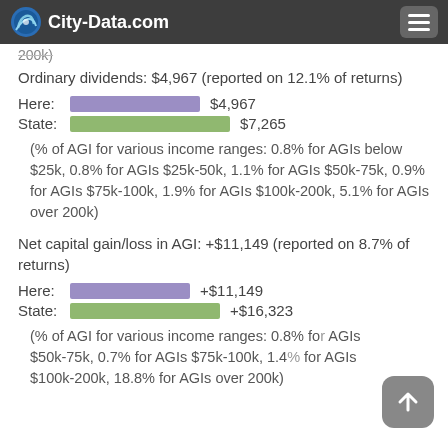City-Data.com
Ordinary dividends: $4,967 (reported on 12.1% of returns)
[Figure (bar-chart): Ordinary dividends comparison]
(% of AGI for various income ranges: 0.8% for AGIs below $25k, 0.8% for AGIs $25k-50k, 1.1% for AGIs $50k-75k, 0.9% for AGIs $75k-100k, 1.9% for AGIs $100k-200k, 5.1% for AGIs over 200k)
Net capital gain/loss in AGI: +$11,149 (reported on 8.7% of returns)
[Figure (bar-chart): Net capital gain/loss comparison]
(% of AGI for various income ranges: 0.8% for AGIs $50k-75k, 0.7% for AGIs $75k-100k, 1.4% for AGIs $100k-200k, 18.8% for AGIs over 200k)